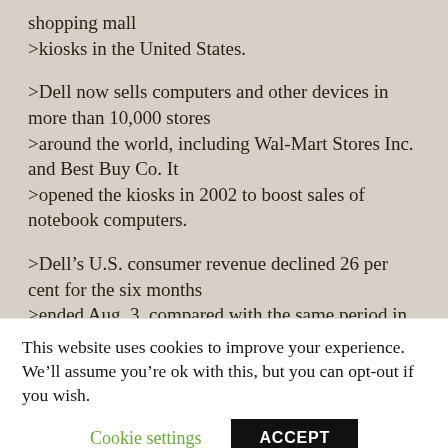shopping mall
>kiosks in the United States.
>Dell now sells computers and other devices in more than 10,000 stores
>around the world, including Wal-Mart Stores Inc. and Best Buy Co. It
>opened the kiosks in 2002 to boost sales of notebook computers.
>Dell’s U.S. consumer revenue declined 26 per cent for the six months
>ended Aug. 3, compared with the same period in 2006.
This website uses cookies to improve your experience. We’ll assume you’re ok with this, but you can opt-out if you wish.
Cookie settings   ACCEPT